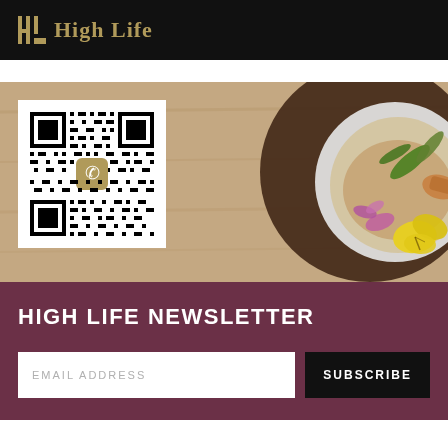[Figure (logo): High Life logo with golden icon and text on black header bar]
[Figure (photo): Food photo showing a bowl with edible flowers (yellow pansy, purple flowers), green herbs on a wooden background. A QR code with WeChat icon is overlaid on the left side.]
HIGH LIFE NEWSLETTER
EMAIL ADDRESS
SUBSCRIBE